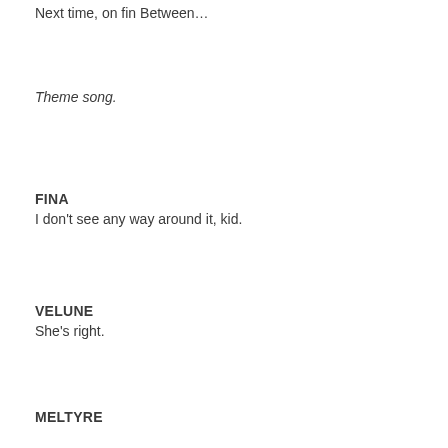Next time, on fin Between…
Theme song.
FINA
I don't see any way around it, kid.
VELUNE
She's right.
MELTYRE